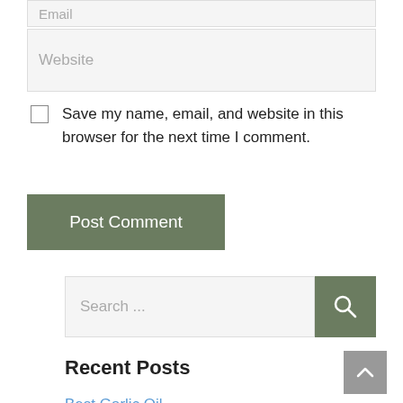Email
Website
Save my name, email, and website in this browser for the next time I comment.
Post Comment
Search ...
Recent Posts
Best Garlic Oil